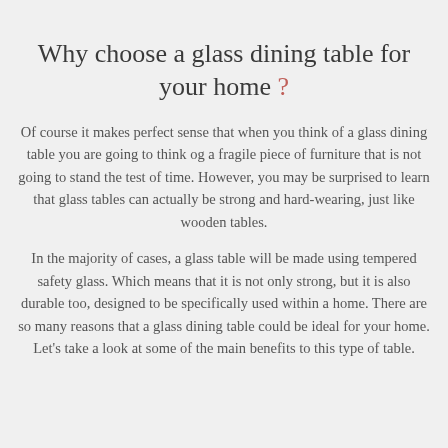Why choose a glass dining table for your home ?
Of course it makes perfect sense that when you think of a glass dining table you are going to think og a fragile piece of furniture that is not going to stand the test of time. However, you may be surprised to learn that glass tables can actually be strong and hard-wearing, just like wooden tables.
In the majority of cases, a glass table will be made using tempered safety glass. Which means that it is not only strong, but it is also durable too, designed to be specifically used within a home. There are so many reasons that a glass dining table could be ideal for your home. Let's take a look at some of the main benefits to this type of table.